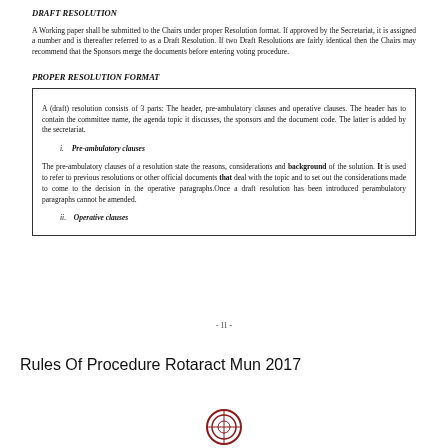DRAFT RESOLUTION
A Working paper shall be submitted to the Chairs under proper Resolution format. If approved by the Secretariat, it is assigned a number and is thereafter referred to as a Draft Resolution. If two Draft Resolutions are fairly identical then the Chairs may recommend that the Sponsors merge the documents before entering voting procedure.
PROPER RESOLUTION FORMAT
A (draft) resolution consists of 3 parts: The header, pre-ambulatory clauses and operative clauses. The header has to contain the committee name, the agenda topic it discusses, the sponsors and the document code. The latter is added by the secretariat.
i. Pre-ambulatory clauses
The pre-ambulatory clauses of a resolution state the reasons, considerations and background of the solution. It is used to refer to previous resolutions or other official documents that deal with the topic and to set out the considerations made to come to the decision in the operative paragraphs.Once a draft resolution has been introduced perambulatory paragraphs cannot be amended.
ii. Operative clauses
- 11 -
Rules Of Procedure Rotaract Mun 2017